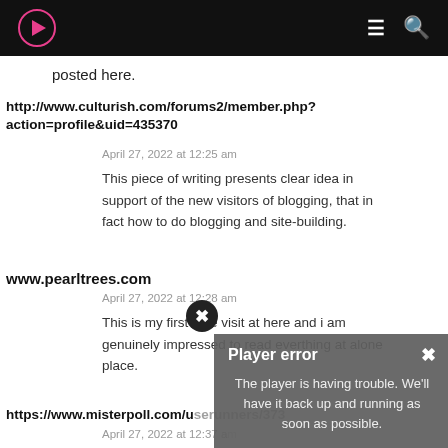Navigation bar with logo, menu icon, and search icon
posted here.
http://www.culturish.com/forums2/member.php?action=profile&uid=435370
April 27, 2022 at 12:25 am
This piece of writing presents clear idea in support of the new visitors of blogging, that in fact how to do blogging and site-building.
www.pearltrees.com
April 27, 2022 at 12:28 am
This is my first time visit at here and i am genuinely impressed to read everthing at alone place.
https://www.misterpoll.com/users/...
April 27, 2022 at 12:37 a...
[Figure (screenshot): Player error overlay popup with close button, title 'Player error', and message 'The player is having trouble. We'll have it back up and running as soon as possible.']